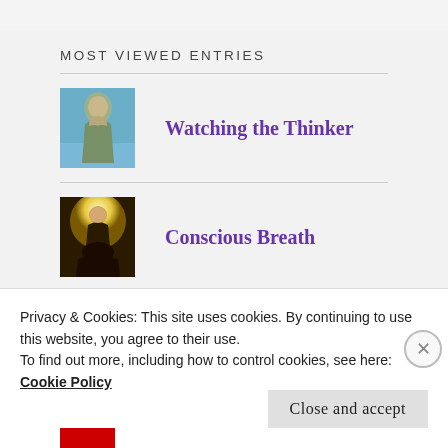MOST VIEWED ENTRIES
Watching the Thinker
Conscious Breath
RECENT POSTS
Privacy & Cookies: This site uses cookies. By continuing to use this website, you agree to their use.
To find out more, including how to control cookies, see here:
Cookie Policy
Close and accept